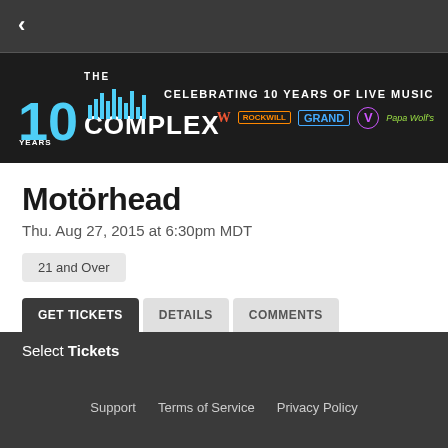< (back arrow)
[Figure (logo): The Complex venue banner — 10 Years, THE COMPLEX logo with bar chart equalizer, CELEBRATING 10 YEARS OF LIVE MUSIC with sponsor logos]
Motörhead
Thu. Aug 27, 2015 at 6:30pm MDT
21 and Over
GET TICKETS    DETAILS    COMMENTS
Select Tickets
Sorry, this event has already taken place.
Support    Terms of Service    Privacy Policy